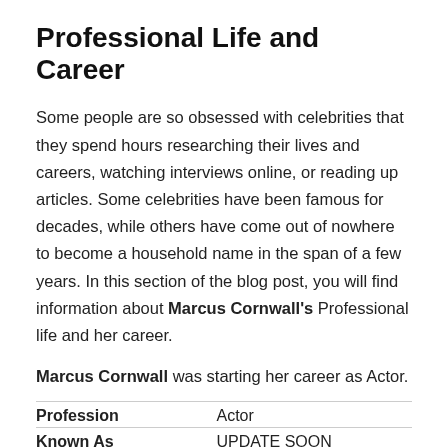Professional Life and Career
Some people are so obsessed with celebrities that they spend hours researching their lives and careers, watching interviews online, or reading up articles. Some celebrities have been famous for decades, while others have come out of nowhere to become a household name in the span of a few years. In this section of the blog post, you will find information about Marcus Cornwall's Professional life and her career.
Marcus Cornwall was starting her career as Actor.
| Profession | Known As |
| --- | --- |
| Profession | Actor |
| Known As | UPDATE SOON |